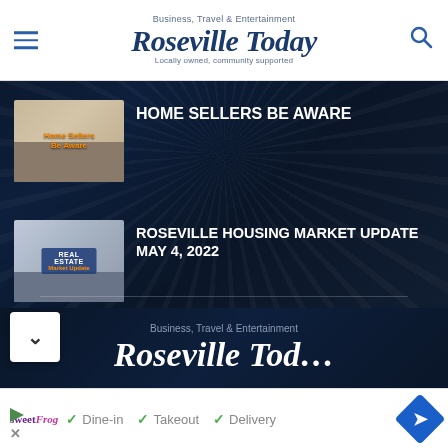Business, Travel & Entertainment — Roseville Today — Locally owned, community supported
HOME SELLERS BE AWARE
ROSEVILLE HOUSING MARKET UPDATE MAY 4, 2022
[Figure (screenshot): Roseville Today website footer logo area showing 'Business, Travel & Entertainment' and partial Roseville Today logo text]
✓ Dine-in  ✓ Takeout  ✓ Delivery